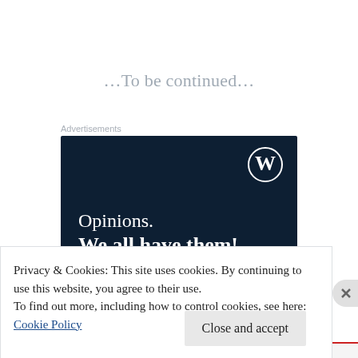…To be continued…
Advertisements
[Figure (illustration): WordPress.com advertisement banner with dark navy background, WordPress logo (W in circle) top right, text reading 'Opinions. We all have them!' in white serif font]
Privacy & Cookies: This site uses cookies. By continuing to use this website, you agree to their use.
To find out more, including how to control cookies, see here: Cookie Policy
Close and accept